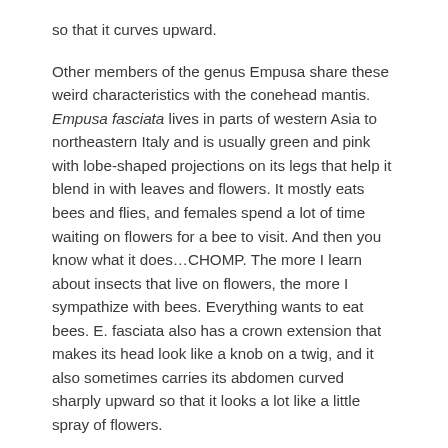so that it curves upward.
Other members of the genus Empusa share these weird characteristics with the conehead mantis. Empusa fasciata lives in parts of western Asia to northeastern Italy and is usually green and pink with lobe-shaped projections on its legs that help it blend in with leaves and flowers. It mostly eats bees and flies, and females spend a lot of time waiting on flowers for a bee to visit. And then you know what it does…CHOMP. The more I learn about insects that live on flowers, the more I sympathize with bees. Everything wants to eat bees. E. fasciata also has a crown extension that makes its head look like a knob on a twig, and it also sometimes carries its abdomen curved sharply upward so that it looks a lot like a little spray of flowers.